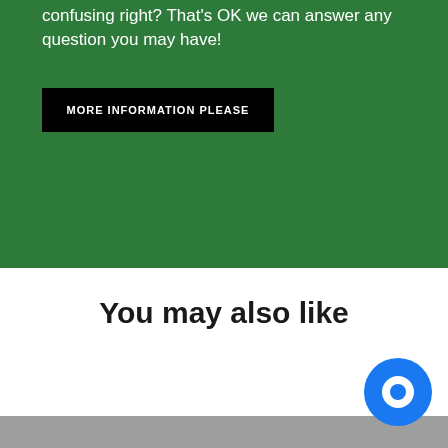confusing right? That's OK we can answer any question you may have!
MORE INFORMATION PLEASE
You may also like